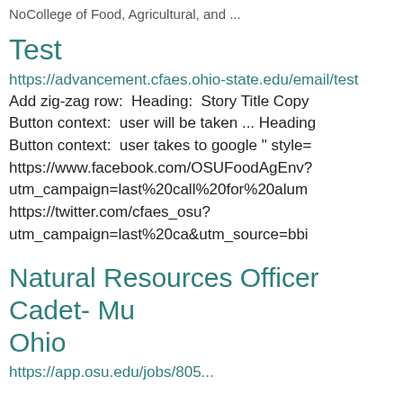NoCollege of Food, Agricultural, and ...
Test
https://advancement.cfaes.ohio-state.edu/email/test
Add zig-zag row:  Heading:  Story Title Copy
Button context:  user will be taken ... Heading
Button context:  user takes to google " style=
https://www.facebook.com/OSUFoodAgEnv?
utm_campaign=last%20call%20for%20alum
https://twitter.com/cfaes_osu?
utm_campaign=last%20ca&utm_source=bbi
Natural Resources Officer Cadet- Mu Ohio
https://app.osu.edu/jobs/805...